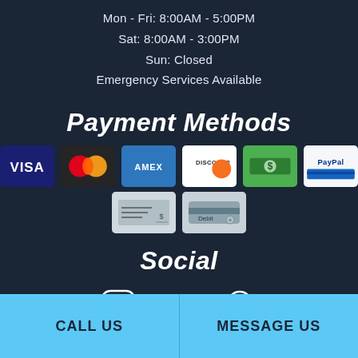Mon - Fri: 8:00AM - 5:00PM
Sat: 8:00AM - 3:00PM
Sun: Closed
Emergency Services Available
Payment Methods
[Figure (infographic): Payment method icons: Visa, MasterCard, Amex, Discover, Cash, PayPal, Check, Debit]
Social
[Figure (infographic): Social media icons: Instagram, Facebook, Location/Maps]
CALL US
MESSAGE US